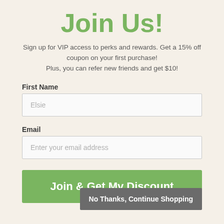Join Us!
Sign up for VIP access to perks and rewards. Get a 15% off coupon on your first purchase!
Plus, you can refer new friends and get $10!
First Name
Elsie
Email
Enter your email address
Join & Get My Discount
No Thanks, Continue Shopping